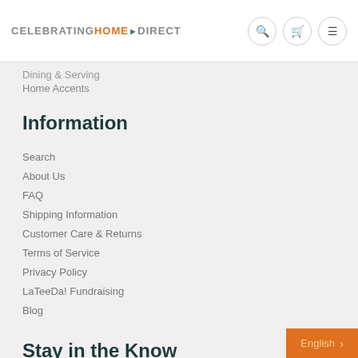CELEBRATING HOME DIRECT — navigation icons: search, cart, menu
Dining & Serving
Home Accents
Information
Search
About Us
FAQ
Shipping Information
Customer Care & Returns
Terms of Service
Privacy Policy
LaTeeDa! Fundraising
Blog
Stay in the Know
Get email offers & the latest news from Celebrating Hor